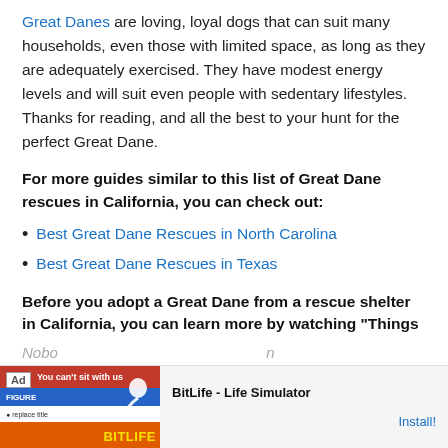Great Danes are loving, loyal dogs that can suit many households, even those with limited space, as long as they are adequately exercised. They have modest energy levels and will suit even people with sedentary lifestyles. Thanks for reading, and all the best to your hunt for the perfect Great Dane.
For more guides similar to this list of Great Dane rescues in California, you can check out:
Best Great Dane Rescues in North Carolina
Best Great Dane Rescues in Texas
Before you adopt a Great Dane from a rescue shelter in California, you can learn more by watching "Things
Nobody... below...
[Figure (screenshot): Mobile advertisement banner for BitLife - Life Simulator app, with red background graphic and Install button]